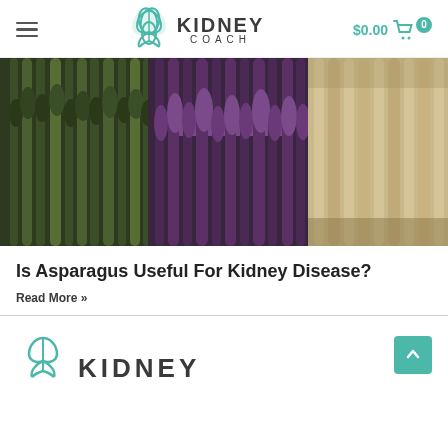KIDNEY COACH | $0.00
[Figure (photo): Close-up photograph of three varieties of asparagus bundles: green asparagus on the left, purple asparagus in the middle tied with a purple band, and white asparagus on the right, photographed on a dark background.]
Is Asparagus Useful For Kidney Disease?
Read More »
[Figure (logo): Kidney Coach logo (partial) showing the teal leaf/flower icon and the beginning of the KIDNEY text in the footer area.]